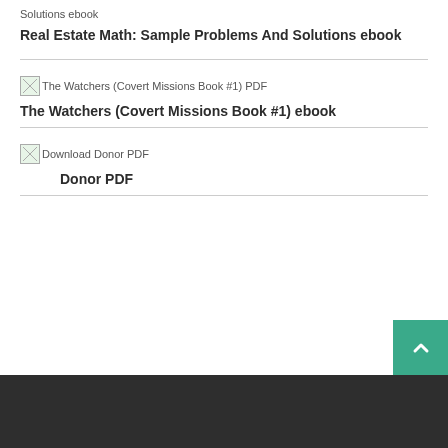Solutions ebook
Real Estate Math: Sample Problems And Solutions ebook
[Figure (other): Broken image placeholder for The Watchers (Covert Missions Book #1) PDF]
The Watchers (Covert Missions Book #1) ebook
[Figure (other): Broken image placeholder for Download Donor PDF]
Donor PDF